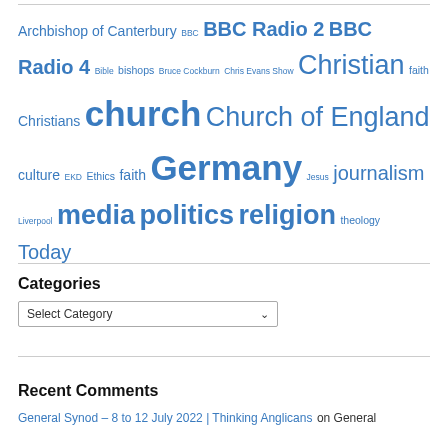[Figure (infographic): Tag cloud with terms of varying sizes in blue: Archbishop of Canterbury, BBC, BBC Radio 2, BBC Radio 4, Bible, bishops, Bruce Cockburn, Chris Evans Show, Christian, faith, Christians, church, Church of England, culture, EKD, Ethics, faith, Germany, Jesus, journalism, Liverpool, media, politics, religion, theology, Today]
Categories
Select Category
Recent Comments
General Synod – 8 to 12 July 2022 | Thinking Anglicans on General